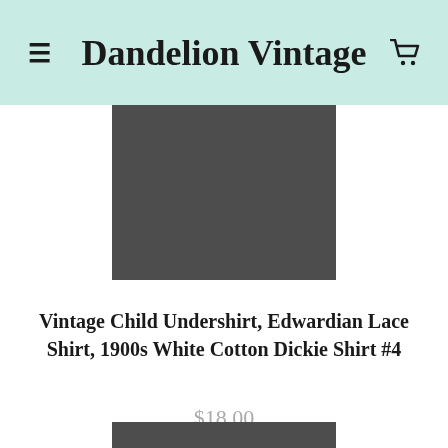Dandelion Vintage
[Figure (photo): Product image placeholder - dark gray rectangle showing top portion of vintage child undershirt product]
Vintage Child Undershirt, Edwardian Lace Shirt, 1900s White Cotton Dickie Shirt #4
$18.00
[Figure (photo): Product image placeholder - dark gray rectangle showing second product image]